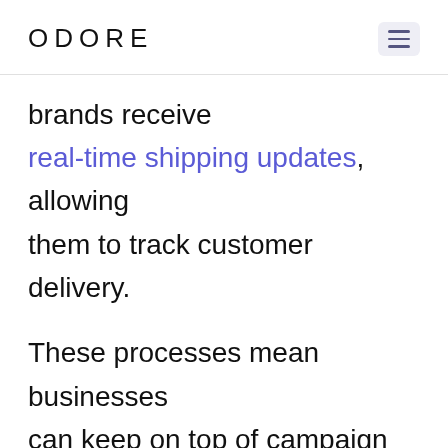ODORE
brands receive real-time shipping updates, allowing them to track customer delivery.
These processes mean businesses can keep on top of campaign performance with minimal resources.